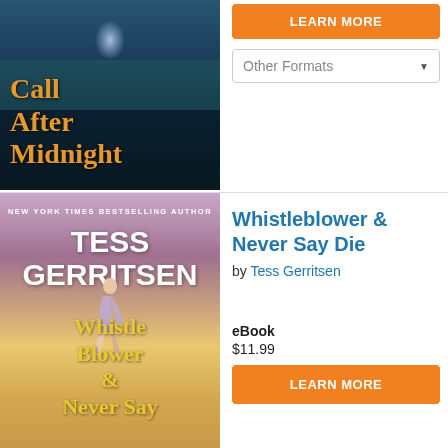[Figure (illustration): Book cover for 'Call After Midnight' featuring dark teal/blue atmospheric scene with a walkway and overhead light. Title text in orange/gold serif font.]
LEARN MORE
Other Formats
[Figure (illustration): Book cover for 'Whistleblower & Never Say Die' by Tess Gerritsen. Features tropical beach scene with woman running, palm trees, purple and golden sky. Author name in large white bold text, book title in yellow serif font at bottom.]
Whistleblower & Never Say Die
by Tess Gerritsen
eBook
$11.99
LEARN MORE